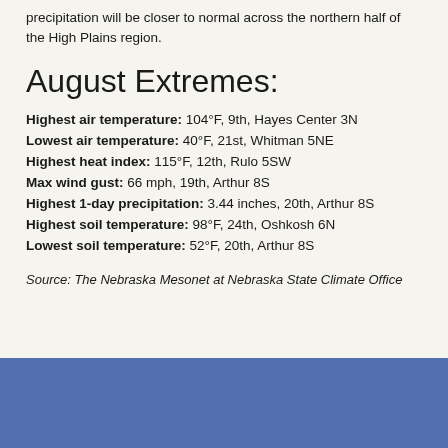precipitation will be closer to normal across the northern half of the High Plains region.
August Extremes:
Highest air temperature: 104°F, 9th, Hayes Center 3N
Lowest air temperature: 40°F, 21st, Whitman 5NE
Highest heat index: 115°F, 12th, Rulo 5SW
Max wind gust: 66 mph, 19th, Arthur 8S
Highest 1-day precipitation: 3.44 inches, 20th, Arthur 8S
Highest soil temperature: 98°F, 24th, Oshkosh 6N
Lowest soil temperature: 52°F, 20th, Arthur 8S
Source: The Nebraska Mesonet at Nebraska State Climate Office